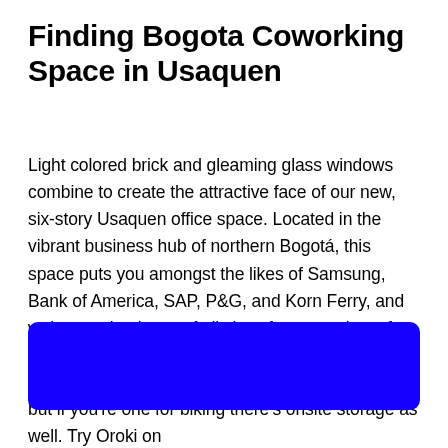Finding Bogota Coworking Space in Usaquen
Light colored brick and gleaming glass windows combine to create the attractive face of our new, six-story Usaquen office space. Located in the vibrant business hub of northern Bogotá, this space puts you amongst the likes of Samsung, Bank of America, SAP, P&G, and Korn Ferry, and welcomes business of all sizes from a variety of industries. Its convenience is undeniable. Most drive or take the bus by way of Carrera Séptima, but if you're one for biking there's onsite storage as well. Try Oroki on
[Figure (other): Blue rounded rectangle button element]